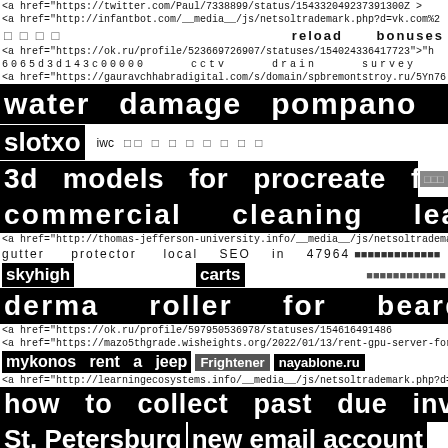<a href="https://twitter.com/Paul/7338899/status/154332049237391300Z >
<a href="http://infantbot.com/__media__/js/netsoltrademark.php?d=vk.com%2
□ □ □ □ reload bonuses
<a href="https://ok.ru/profile/523669726907/statuses/154024336417723">"h
6065d3d143c00000 cctv drain survey childwickbury
<a href="https://gauravchhabradigital.com/s/domain/spbremontstroy.ru/5Yn76
water damage pompano beach
slotxo iwc □ □ □ □ □ □ □ □
3d models for procreate free
commercial cleaning leads
<a href="http://thomas-jefferson-university.info/__media__/js/netsoltrademark.
gutter protector local SEO in 47964 □□□□□□□□□□□□□
skyhigh carts □□□□□□□□□□□□
derma roller for beard
<a href="https://ok.ru/profile/597950536978/statuses/154616491486
<a href="https://mazo5thgrade.wisheights.org/2022/01/13/rent-gpu-server-for-
mykonos rent a jeep Frightener nayablone.ru
<a href="http://learningecosystems.info/__media__/js/netsoltrademark.php?d=
how to collect past due invoice
St. Petersburg new email account
<a href="https://ok.ru/profile/581662684059/statuses/153870451606
sell your house fast in mesa az
<a href="https://ok.ru/profile/581231988807/statuses/154540941235527">"h